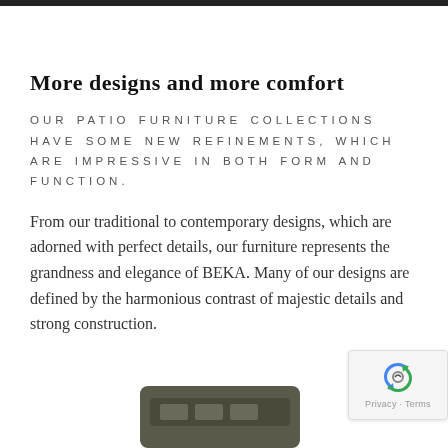More designs and more comfort
OUR PATIO FURNITURE COLLECTIONS HAVE SOME NEW REFINEMENTS, WHICH ARE IMPRESSIVE IN BOTH FORM AND FUNCTION.
From our traditional to contemporary designs, which are adorned with perfect details, our furniture represents the grandness and elegance of BEKA. Many of our designs are defined by the harmonious contrast of majestic details and strong construction.
[Figure (photo): Partial view of patio furniture piece at bottom of page]
[Figure (logo): Google reCAPTCHA privacy badge with spinning arrows icon and Privacy · Terms text]